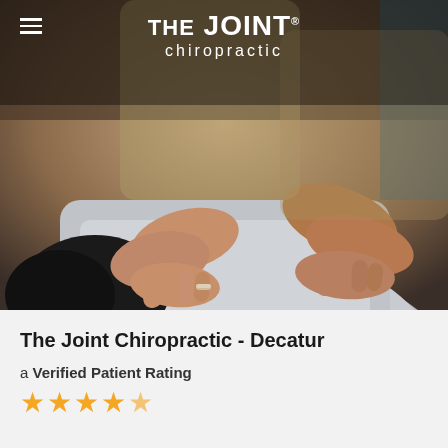[Figure (photo): A chiropractor's hands performing spinal adjustment on a patient lying face down, wearing a gray shirt. The practitioner wears a khaki shirt and a silver ring. The Joint Chiropractic logo and menu icon overlay the top of the image.]
The Joint Chiropractic - Decatur
a Verified Patient Rating
[Figure (other): Star rating display showing approximately 4.5 out of 5 gold stars]